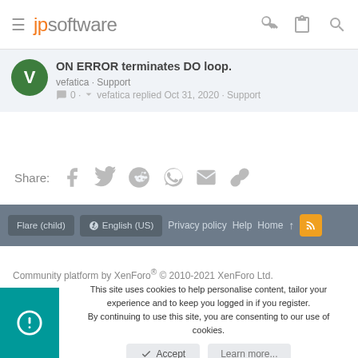jpsoftware — navigation bar with hamburger menu, logo, and icons
ON ERROR terminates DO loop.
vefatica · Support
0 · vefatica replied Oct 31, 2020 · Support
Share:
Flare (child)  English (US)  Privacy policy  Help  Home  ↑  RSS
Community platform by XenForo® © 2010-2021 XenForo Ltd.
This site uses cookies to help personalise content, tailor your experience and to keep you logged in if you register.
By continuing to use this site, you are consenting to our use of cookies.
Accept  Learn more...